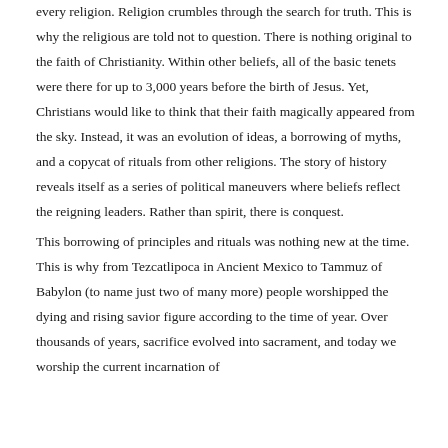every religion. Religion crumbles through the search for truth. This is why the religious are told not to question. There is nothing original to the faith of Christianity. Within other beliefs, all of the basic tenets were there for up to 3,000 years before the birth of Jesus. Yet, Christians would like to think that their faith magically appeared from the sky. Instead, it was an evolution of ideas, a borrowing of myths, and a copycat of rituals from other religions. The story of history reveals itself as a series of political maneuvers where beliefs reflect the reigning leaders. Rather than spirit, there is conquest.
This borrowing of principles and rituals was nothing new at the time. This is why from Tezcatlipoca in Ancient Mexico to Tammuz of Babylon (to name just two of many more) people worshipped the dying and rising savior figure according to the time of year. Over thousands of years, sacrifice evolved into sacrament, and today we worship the current incarnation of